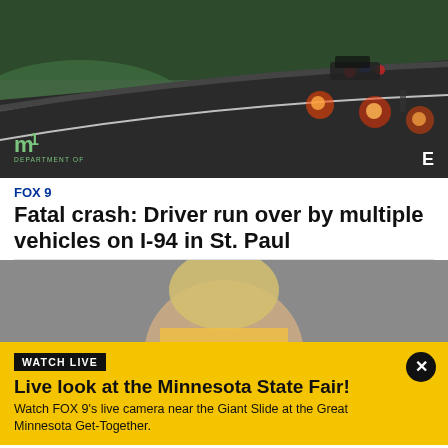[Figure (photo): Aerial/traffic camera view of a highway at night with police vehicle lights visible. MN Department of Transportation logo in lower left corner.]
FOX 9
Fatal crash: Driver run over by multiple vehicles on I-94 in St. Paul
[Figure (photo): A blonde woman in a yellow top against a gray background, partially visible.]
WATCH LIVE
Live look at the Minnesota State Fair!
Watch FOX 9's live camera near the Giant Slide at the Great Minnesota Get-Together.